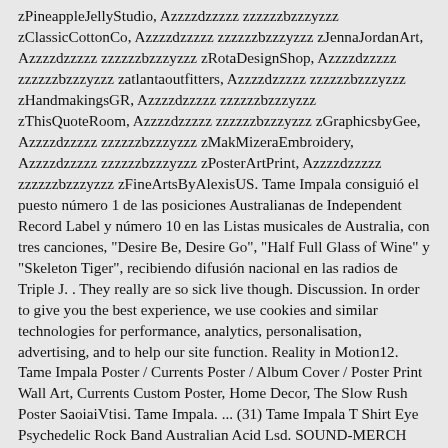zPineappleJellyStudio, Azzzzdzzzzz zzzzzzzbzzyzzz zClassicCottonCo, Azzzzdzzzzz zzzzzzbzzzyzzz zJennaJordanArt, Azzzzdzzzzz zzzzzzbzzzyzzz zRotaDesignShop, Azzzzdzzzzz zzzzzzbzzzyzzz zatlantaoutfitters, Azzzzdzzzzz zzzzzzbzzzyzzz zHandmakingsGR, Azzzzdzzzzz zzzzzzbzzzyzzz zThisQuoteRoom, Azzzzdzzzzz zzzzzzbzzzyzzz zGraphicsbyGee, Azzzzdzzzzz zzzzzzbzzzyzzz zMakMizeraEmbroidery, Azzzzdzzzzz zzzzzzbzzzyzzz zPosterArtPrint, Azzzzdzzzzz zzzzzzbzzzyzzz zFineArtsByAlexisUS. Tame Impala consiguió el puesto número 1 de las posiciones Australianas de Independent Record Label y número 10 en las Listas musicales de Australia, con tres canciones, "Desire Be, Desire Go", "Half Full Glass of Wine" y "Skeleton Tiger", recibiendo difusión nacional en las radios de Triple J. . They really are so sick live though. Discussion. In order to give you the best experience, we use cookies and similar technologies for performance, analytics, personalisation, advertising, and to help our site function. Reality in Motion12. Tame Impala Poster / Currents Poster / Album Cover / Poster Print Wall Art, Currents Custom Poster, Home Decor, The Slow Rush Poster SaoiaiVtisi. Tame Impala. ... (31) Tame Impala T Shirt Eye Psychedelic Rock Band Australian Acid Lsd. SOUND-MERCH 107-109 Rupert St Collingwood, VIC, 3066 AUSTRALIA. PLEASE ALLOW 4-6 WEEKS FOR DELIVERY /// OTHERS: restrictions may apply. Home; Music; Merchandise $ USD £ GBP € EUR $ USD Login. E: orders@sound-merch.com.au 1 × CD & 1